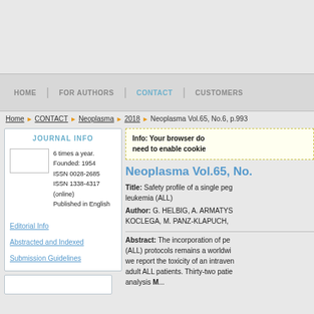HOME | FOR AUTHORS | CONTACT | CUSTOMERS
Home > CONTACT > Neoplasma > 2018 > Neoplasma Vol.65, No.6, p.993
JOURNAL INFO
6 times a year. Founded: 1954 ISSN 0028-2685 ISSN 1338-4317 (online) Published in English
Editorial Info
Abstracted and Indexed
Submission Guidelines
Info: Your browser do need to enable cookie
Neoplasma Vol.65, No.
Title: Safety profile of a single peg leukemia (ALL)
Author: G. HELBIG, A. ARMATYS KOCLEGA, M. PANZ-KLAPUCH,
Abstract: The incorporation of pe (ALL) protocols remains a worldwi we report the toxicity of an intraven adult ALL patients. Thirty-two patie analysis M...